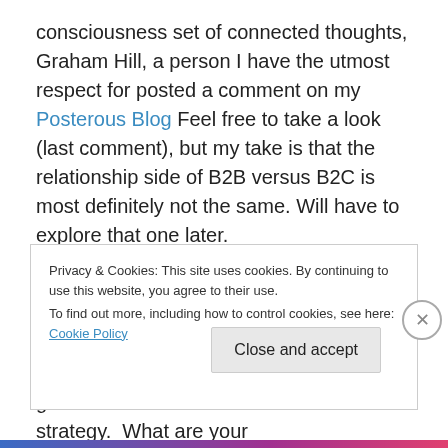consciousness set of connected thoughts, Graham Hill, a person I have the utmost respect for posted a comment on my Posterous Blog Feel free to take a look (last comment), but my take is that the relationship side of B2B versus B2C is most definitely not the same. Will have to explore that one later.
Back to a quick conclusion: Sure, your strategy needs to consider what you actually sell. Assess what channel makes the most sense, I know that. But the end-game is the same in the decision on strategy.  What are your
Privacy & Cookies: This site uses cookies. By continuing to use this website, you agree to their use.
To find out more, including how to control cookies, see here: Cookie Policy
Close and accept